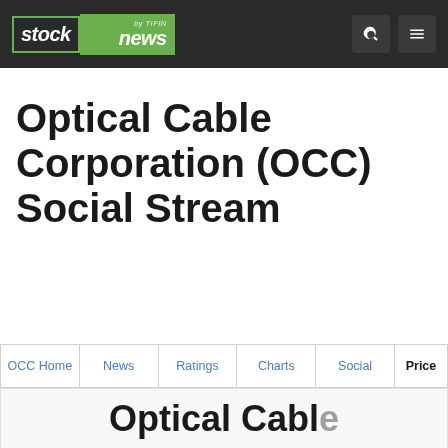stock news by TIFIN
Optical Cable Corporation (OCC) Social Stream
OCC Home
News
Ratings
Charts
Social
Price
Optical Cable...